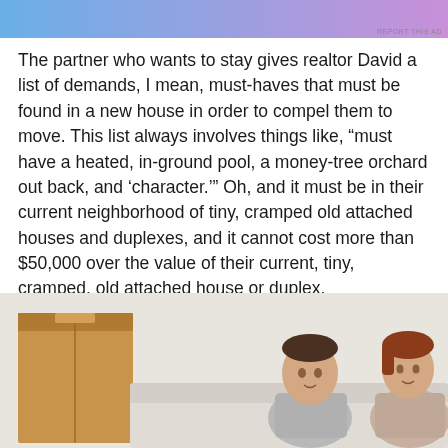[Figure (other): Advertisement banner with blue-to-pink gradient background and 'REPORT THIS AD' text in small gray letters at bottom right]
The partner who wants to stay gives realtor David a list of demands, I mean, must-haves that must be found in a new house in order to compel them to move. This list always involves things like, “must have a heated, in-ground pool, a money-tree orchard out back, and ‘character.’” Oh, and it must be in their current neighborhood of tiny, cramped old attached houses and duplexes, and it cannot cost more than $50,000 over the value of their current, tiny, cramped, old attached house or duplex.
[Figure (photo): A young couple sitting on a couch with a cardboard moving box on the left side. The man is wearing a gray t-shirt and the woman has short red/brown hair. Both are looking at the camera.]